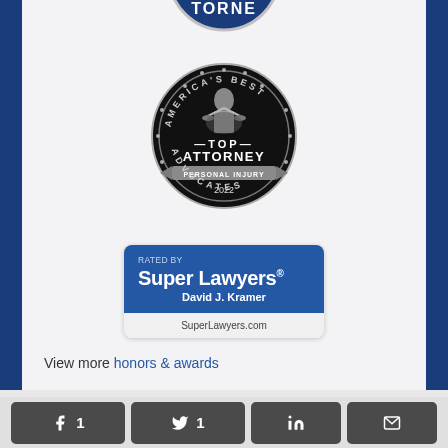[Figure (logo): Partial view of a blue circular attorney badge at the top, cropped — shows 'TORNE' text]
[Figure (logo): America's Best Advocates — Top Attorney Personal Injury 2022 badge: black circular seal with silver figure of justice, ribbon banner]
[Figure (logo): Super Lawyers badge — Rated by Super Lawyers, David J. Kramer, SuperLawyers.com]
View more honors & awards
[Figure (infographic): Social share buttons row: Facebook (1), Twitter (1), LinkedIn, Email — dark gray rounded buttons]